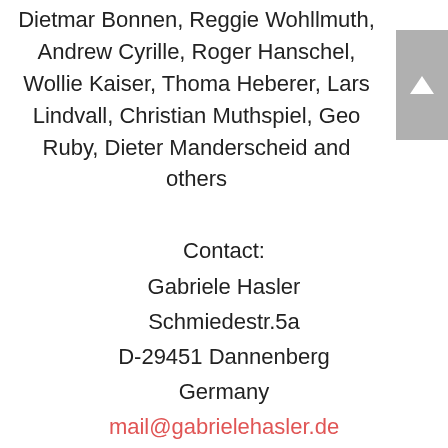Dietmar Bonnen, Reggie Wohllmuth, Andrew Cyrille, Roger Hanschel, Wollie Kaiser, Thomas Heberer, Lars Lindvall, Christian Muthspiel, Georg Ruby, Dieter Manderscheid and others
Contact:
Gabriele Hasler
Schmiedestr.5a
D-29451 Dannenberg
Germany
mail@gabrielehasler.de
fon 0049-5861-3869854